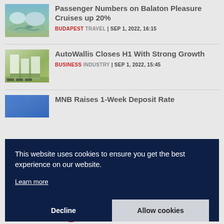Passenger Numbers on Balaton Pleasure Cruises up 20%
BUDAPEST TRAVEL | SEP 1, 2022, 16:15
AutoWallis Closes H1 With Strong Growth
BUSINESS INDUSTRY | SEP 1, 2022, 15:45
MNB Raises 1-Week Deposit Rate
This website uses cookies to ensure you get the best experience on our website.
Learn more
Decline
Allow cookies
PODCASTS